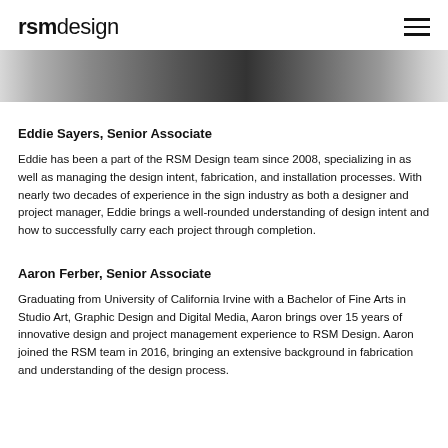rsmdesign
[Figure (photo): Cropped black and white photo strip showing abstract shapes, likely foliage or architectural detail]
Eddie Sayers, Senior Associate
Eddie has been a part of the RSM Design team since 2008, specializing in as well as managing the design intent, fabrication, and installation processes. With nearly two decades of experience in the sign industry as both a designer and project manager, Eddie brings a well-rounded understanding of design intent and how to successfully carry each project through completion.
Aaron Ferber, Senior Associate
Graduating from University of California Irvine with a Bachelor of Fine Arts in Studio Art, Graphic Design and Digital Media, Aaron brings over 15 years of innovative design and project management experience to RSM Design. Aaron joined the RSM team in 2016, bringing an extensive background in fabrication and understanding of the design process.